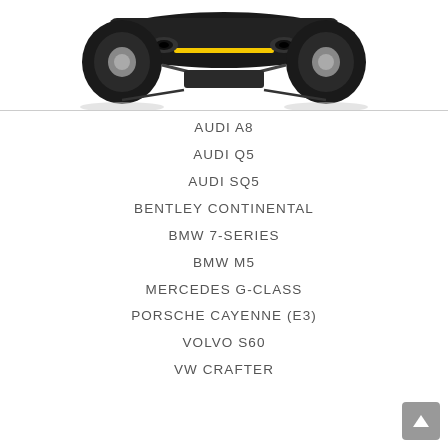[Figure (photo): Rear underside view of a sports car (yellow accents visible on exhaust/diffuser area), shot from below, showing rear tires, exhaust pipes, and undercarriage against white background]
AUDI A8
AUDI Q5
AUDI SQ5
BENTLEY CONTINENTAL
BMW 7-SERIES
BMW M5
MERCEDES G-CLASS
PORSCHE CAYENNE (E3)
VOLVO S60
VW CRAFTER